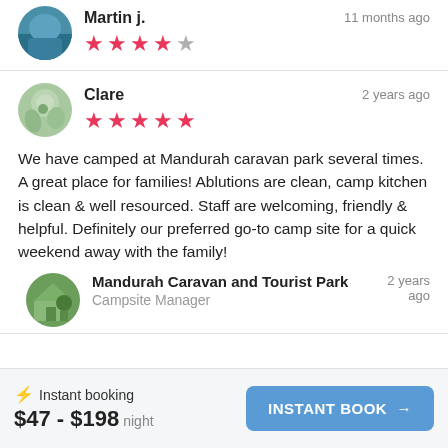Martin j.
11 months ago
4 out of 5 stars
Clare
2 years ago
5 out of 5 stars
We have camped at Mandurah caravan park several times. A great place for families! Ablutions are clean, camp kitchen is clean & well resourced. Staff are welcoming, friendly & helpful. Definitely our preferred go-to camp site for a quick weekend away with the family!
Mandurah Caravan and Tourist Park
Campsite Manager
2 years ago
⚡ Instant booking $47 - $198 night
INSTANT BOOK →